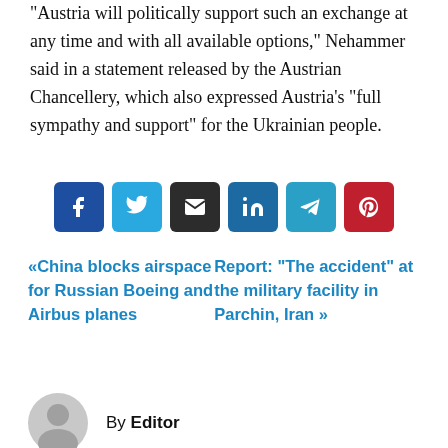"Austria will politically support such an exchange at any time and with all available options," Nehammer said in a statement released by the Austrian Chancellery, which also expressed Austria's "full sympathy and support" for the Ukrainian people.
[Figure (other): Row of six social share buttons: Facebook (blue), Twitter (light blue), Email (dark/black), LinkedIn (dark blue), Telegram (teal), Pinterest (red)]
« China blocks airspace for Russian Boeing and Airbus planes
Report: "The accident" at the military facility in Parchin, Iran »
By Editor